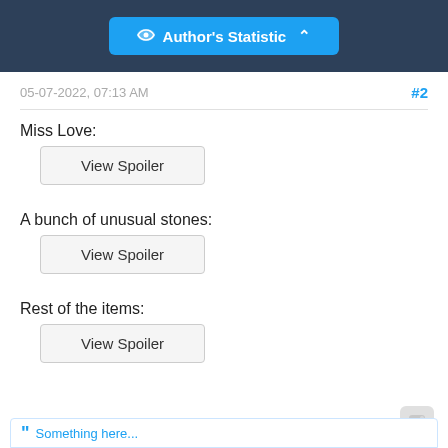Author's Statistic
05-07-2022, 07:13 AM
#2
Miss Love:
View Spoiler
A bunch of unusual stones:
View Spoiler
Rest of the items:
View Spoiler